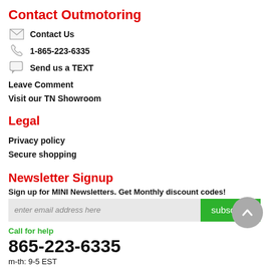Contact Outmotoring
Contact Us
1-865-223-6335
Send us a TEXT
Leave Comment
Visit our TN Showroom
Legal
Privacy policy
Secure shopping
Newsletter Signup
Sign up for MINI Newsletters. Get Monthly discount codes!
enter email address here
subscribe
Call for help
865-223-6335
m-th: 9-5 EST